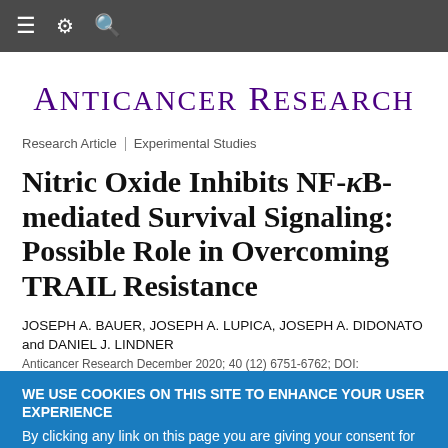≡ ⚙ 🔍
Anticancer Research
Research Article | Experimental Studies
Nitric Oxide Inhibits NF-κB-mediated Survival Signaling: Possible Role in Overcoming TRAIL Resistance
JOSEPH A. BAUER, JOSEPH A. LUPICA, JOSEPH A. DIDONATO and DANIEL J. LINDNER
Anticancer Research December 2020; 40 (12) 6751-6762; DOI:
WE USE COOKIES ON THIS SITE TO ENHANCE YOUR USER EXPERIENCE
By clicking any link on this page you are giving your consent for us to